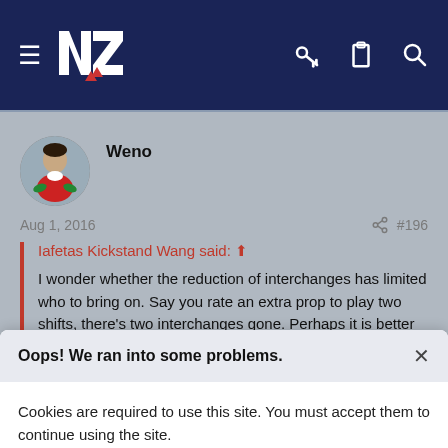[Figure (screenshot): Dark navy navigation bar with hamburger menu icon, NZ logo (Māori fern/stylized letters), key icon, clipboard icon, and search icon]
[Figure (illustration): Round avatar showing a rugby player illustration with red uniform and white collar]
Weno
Aug 1, 2016
#196
Iafetas Kickstand Wang said: ↑
I wonder whether the reduction of interchanges has limited who to bring on. Say you rate an extra prop to play two shifts, there's two interchanges gone. Perhaps it is better to have more
Oops! We ran into some problems.
Cookies are required to use this site. You must accept them to continue using the site.